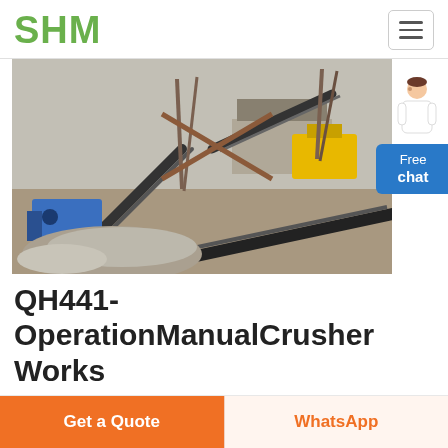SHM
[Figure (photo): Outdoor industrial quarry/crusher plant with conveyor belts, yellow and blue machinery, gravel piles, and metal scaffolding structures.]
QH441-OperationManualCrusher Works
· 39 Item Part No. Image 1 DE1007 2 DE6000 3